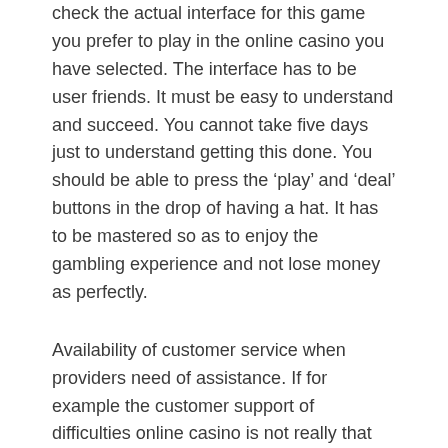check the actual interface for this game you prefer to play in the online casino you have selected. The interface has to be user friends. It must be easy to understand and succeed. You cannot take five days just to understand getting this done. You should be able to press the 'play' and 'deal' buttons in the drop of having a hat. It has to be mastered so as to enjoy the gambling experience and not lose money as perfectly.
Availability of customer service when providers need of assistance. If for example the customer support of difficulties online casino is not really that efficient, just spells 2 things. They might not have enough work force to help them accomplish the task or they didn't hire any people to perform the task these. Once a casino site does n't have any workforce provide customer support, then it is surely not a reliable one.